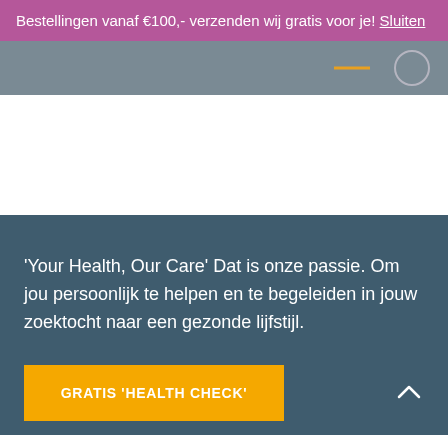Bestellingen vanaf €100,- verzenden wij gratis voor je! Sluiten
[Figure (screenshot): Navigation bar with orange line and circle icon on grey background]
[Figure (screenshot): White section area]
'Your Health, Our Care' Dat is onze passie. Om jou persoonlijk te helpen en te begeleiden in jouw zoektocht naar een gezonde lijfstijl.
GRATIS 'HEALTH CHECK'